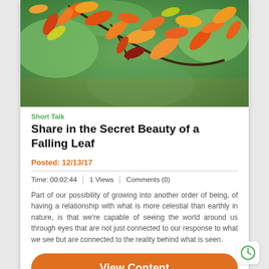[Figure (photo): Autumn maple leaves in shades of orange, red, yellow, and green on branches against a blurred background]
Short Talk
Share in the Secret Beauty of a Falling Leaf
Posted: 12/13/17
Time: 00:02:44  |  1 Views  |  Comments (0)
Part of our possibility of growing into another order of being, of having a relationship with what is more celestial than earthly in nature, is that we're capable of seeing the world around us through eyes that are not just connected to our response to what we see but are connected to the reality behind what is seen.
View Content